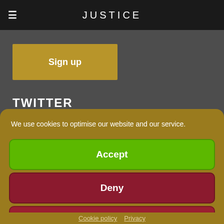JUSTICE
Sign up
TWITTER
We use cookies to optimise our website and our service.
Accept
Deny
Preferences
Cookie policy  Privacy